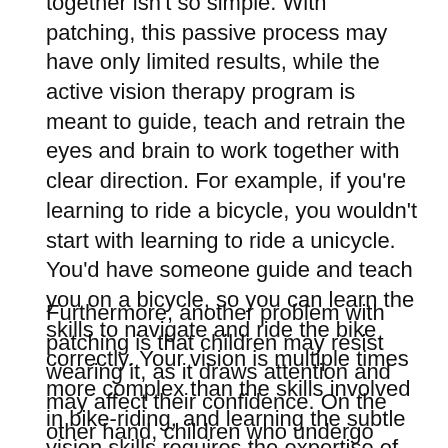together isn't so simple. With patching, this passive process may have only limited results, while the active vision therapy program is meant to guide, teach and retrain the eyes and brain to work together with clear direction. For example, if you're learning to ride a bicycle, you wouldn't start with learning to ride a unicycle. You'd have someone guide and teach you on a bicycle, so you can learn the skills to navigate and ride the bike correctly. Your vision is multiple times more complex than the skills involved in bike-riding, and learning the subtle vision skills requires the expertise of an optometrist trained in developmental vision therapy.
Furthermore, another problem with patching is that children may resist wearing it, as it draws attention and may affect their confidence. On the other hand, children who undergo vision therapy are likely to experience a confidence boost as their visual skills are refined.